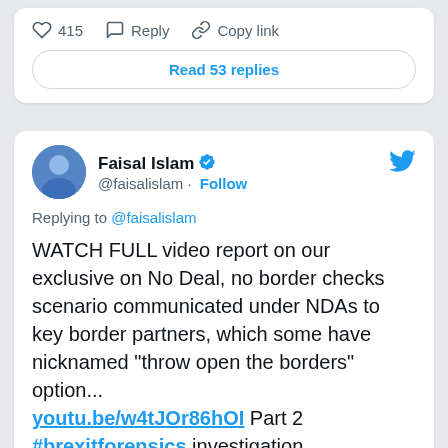[Figure (screenshot): Twitter action bar with heart icon showing 415 likes, Reply button, and Copy link button]
Read 53 replies
[Figure (screenshot): Twitter tweet card from Faisal Islam (@faisalislam) with verified badge and Follow link, replying to @faisalislam. Tweet text: WATCH FULL video report on our exclusive on No Deal, no border checks scenario communicated under NDAs to key border partners, which some have nicknamed "throw open the borders" option... youtu.be/w4tJOr86hOI Part 2 #brexitforensics investigation]